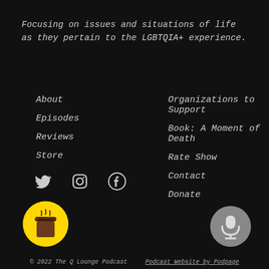Focusing on issues and situations of life as they pertain to the LGBTQIA+ experience.
About
Episodes
Reviews
Store
Organizations to Support
Book: A Moment of Death
Rate Show
Contact
Donate
[Figure (infographic): Social media icons: Twitter bird, Instagram camera, Facebook F]
[Figure (logo): Buy Me a Coffee button — yellow circle with coffee cup icon]
[Figure (logo): Microphone button — grey circle with microphone icon]
© 2022 The Q Lounge Podcast   Podcast Website by Podpage